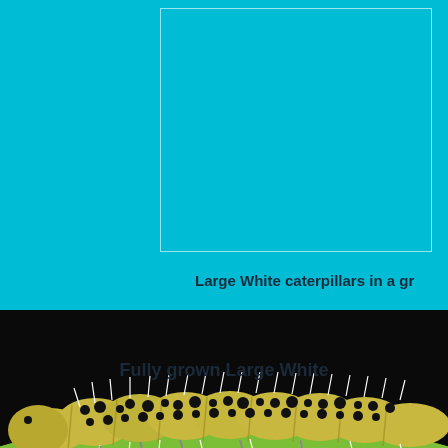[Figure (photo): Top image area: cyan/teal background with a white-bordered rectangular box (partially visible, cropped at top), showing Large White caterpillars in a group (image cropped at right edge)]
Large White caterpillars in a gr
[Figure (photo): Close-up macro photograph of a fully grown Large White butterfly caterpillar with black spots and white spiky hairs, resting on a green leaf surface, against a dark background]
Fully grown Large White